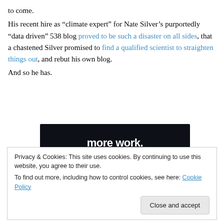to come.
His recent hire as “climate expert” for Nate Silver’s purportedly “data driven” 538 blog proved to be such a disaster on all sides, that a chastened Silver promised to find a qualified scientist to straighten things out, and rebut his own blog.
And so he has.
[Figure (other): Dark advertisement banner with white bold text 'more work.' and a 'Get started for free' button with rounded border]
Privacy & Cookies: This site uses cookies. By continuing to use this website, you agree to their use.
To find out more, including how to control cookies, see here: Cookie Policy
Close and accept